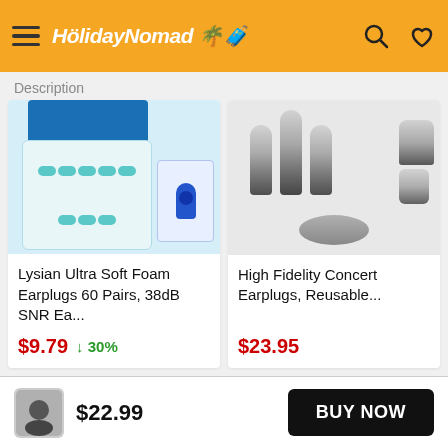[Figure (screenshot): HolidayNomad app header with orange background, hamburger menu, logo, search and heart icons]
Description
[Figure (photo): Lysian Ultra Soft Foam Earplugs 60 Pairs product image showing teal foam earplugs in a container and blue silicone earplugs]
Lysian Ultra Soft Foam Earplugs 60 Pairs, 38dB SNR Ea...
$9.79   ↓30%
[Figure (photo): High Fidelity Concert Earplugs, Reusable product image showing clear/transparent ear plugs with metal components]
High Fidelity Concert Earplugs, Reusable...
$23.95
$22.99
BUY NOW